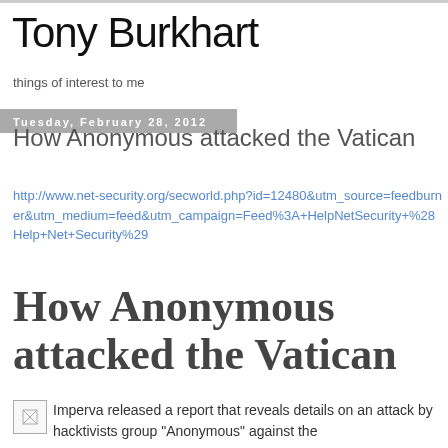Tony Burkhart
things of interest to me
Tuesday, February 28, 2012
How Anonymous attacked the Vatican
http://www.net-security.org/secworld.php?id=12480&utm_source=feedburner&utm_medium=feed&utm_campaign=Feed%3A+HelpNetSecurity+%28Help+Net+Security%29
How Anonymous attacked the Vatican
Imperva released a report that reveals details on an attack by hacktivists group "Anonymous" against the